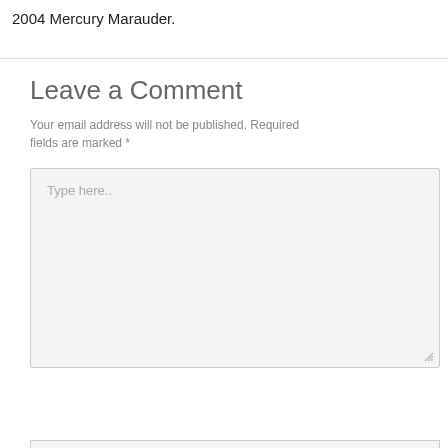2004 Mercury Marauder.
Leave a Comment
Your email address will not be published. Required fields are marked *
[Figure (other): Comment text area input box with placeholder text 'Type here..' and a resize handle in the bottom right corner]